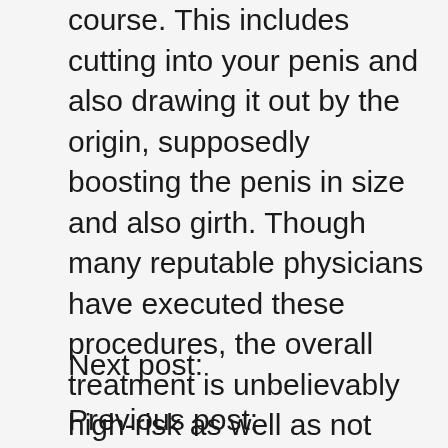course. This includes cutting into your penis and also drawing it out by the origin, supposedly boosting the penis in size and also girth. Though many reputable physicians have executed these procedures, the overall treatment is unbelievably high-risk as well as not very efficient. The major concern with the operation is that after it's done, there is an amount of time where you have to be on pain killers in order to avoid any kind of infections from occurring. For me, this was not an option I agreed to take.
Next post:
Previous post: